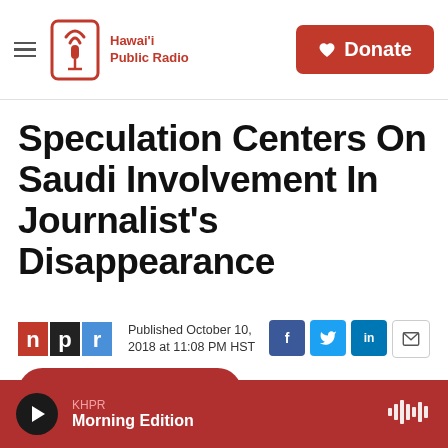Hawai'i Public Radio — Donate
Speculation Centers On Saudi Involvement In Journalist's Disappearance
Published October 10, 2018 at 11:08 PM HST
LISTEN • 3:31
KHPR Morning Edition